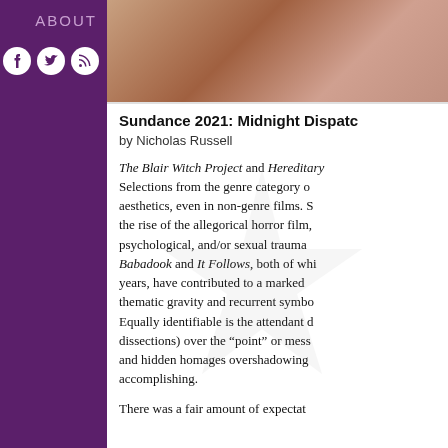ABOUT
[Figure (illustration): Social media icons: Facebook, Twitter, RSS feed — white circles on purple background]
[Figure (photo): Hero image showing a close-up of hands or a warm-toned abstract scene]
Sundance 2021: Midnight Dispatch
by Nicholas Russell
The Blair Witch Project and Hereditary... Selections from the genre category of aesthetics, even in non-genre films. S... the rise of the allegorical horror film, psychological, and/or sexual trauma... Babadook and It Follows, both of whi... years, have contributed to a marked... thematic gravity and recurrent symbo... Equally identifiable is the attendant d... dissections) over the "point" or mess... and hidden homages overshadowings... accomplishing.
There was a fair amount of expectat...